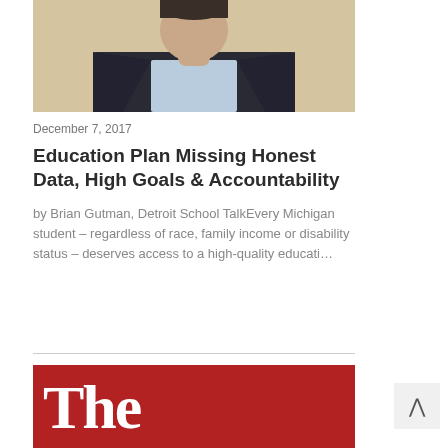[Figure (photo): Headshot of a man in a dark suit with a light blue shirt, cropped at the chest, against a neutral background]
December 7, 2017
Education Plan Missing Honest Data, High Goals & Accountability
by Brian Gutman, Detroit School TalkEvery Michigan student – regardless of race, family income or disability status – deserves access to a high-quality educati…
[Figure (logo): Red banner with white bold serif text reading 'The' — partial view of a logo]